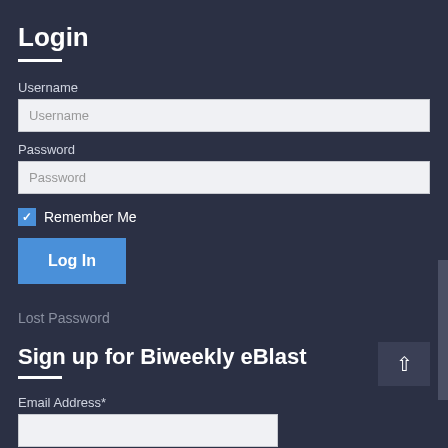Login
Username
Username (input placeholder)
Password
Password (input placeholder)
Remember Me
Log In
Lost Password
Sign up for Biweekly eBlast
Email Address*